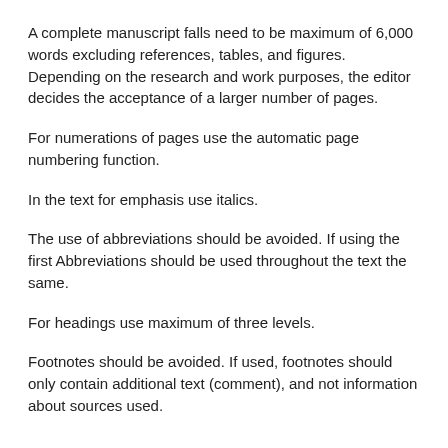A complete manuscript falls need to be maximum of 6,000 words excluding references, tables, and figures. Depending on the research and work purposes, the editor decides the acceptance of a larger number of pages.
For numerations of pages use the automatic page numbering function.
In the text for emphasis use italics.
The use of abbreviations should be avoided. If using the first Abbreviations should be used throughout the text the same.
For headings use maximum of three levels.
Footnotes should be avoided. If used, footnotes should only contain additional text (comment), and not information about sources used.